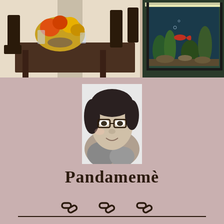[Figure (photo): Banner photo showing a dining room table with fall floral centerpiece on the left side and an aquarium with fish and plants on the right side]
[Figure (photo): Black and white profile photo of a person with glasses lying down, looking at the camera]
Pandamemè
🔗 🔗 🔗 (three chain/link social media icons)
Music, Book reviews, Real me!
Menu ∨